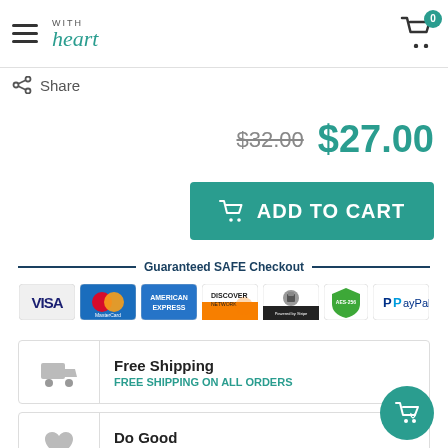Hats with Heart — navigation header with cart (0 items)
Share
$32.00  $27.00
ADD TO CART
Guaranteed SAFE Checkout
[Figure (infographic): Payment method logos: VISA, MasterCard, American Express, Discover Network, Stripe (Secure SSL), AES-256, PayPal]
Free Shipping
FREE SHIPPING ON ALL ORDERS
Do Good
10% OF ALL SALES DONATED